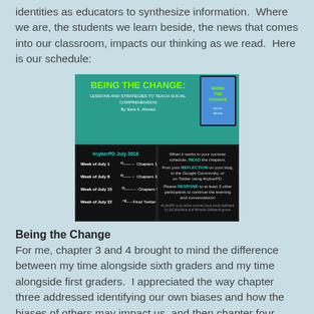identities as educators to synthesize information.  Where we are, the students we learn beside, the news that comes into our classroom, impacts our thinking as we read.  Here is our schedule:
[Figure (infographic): Promotional image for 'Being the Change: Lessons and Strategies to Teach Social Comprehension by Sara K. Ahmed' showing the #cyberPD July 2018 reading schedule. Left panel (black background): Week of July 1st → Chapters 1-2, Week of July 8th → Chapters 3-4, Week of July 15th → Chapters 5-6, Week of July 22nd → Final Twitter Chat. Right panel (black background): Instructions to READ chapters, POST REFLECTION on blog/Google Community/Twitter using #cyberPD, RESPOND to at least 3 other participants. Footer: #cyberPD is an online summer book study facilitated by @CathyMere and Michelle @litlearningzone. Book cover shown in top right.]
Being the Change
For me, chapter 3 and 4 brought to mind the difference between my time alongside sixth graders and my time alongside first graders.  I appreciated the way chapter three addressed identifying our own biases and how the biases of others may impact us, and then chapter four moved into thinking through "news."  When I taught sixth grade, the news walked into our room every day.  Students were paying